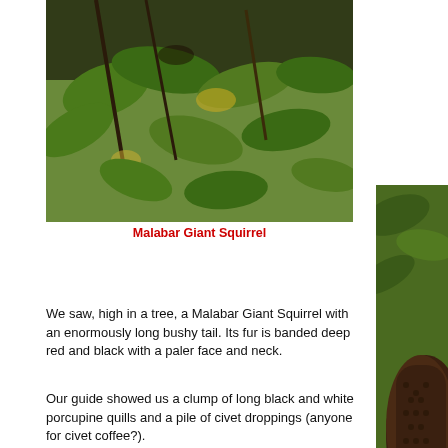[Figure (photo): Malabar Giant Squirrel in tree canopy with green leaves]
Malabar Giant Squirrel
We saw, high in a tree, a Malabar Giant Squirrel with an enormously long bushy tail. Its fur is banded deep red and black with a paler face and neck.
Our guide showed us a clump of long black and white porcupine quills and a pile of civet droppings (anyone for civet coffee?).
[Figure (photo): Close-up of large bee/wasp nest on tree branch, partially visible on right side of page]
W
The si... cardam...
[Figure (photo): Cardamom or tropical vegetation plantation at bottom of page]